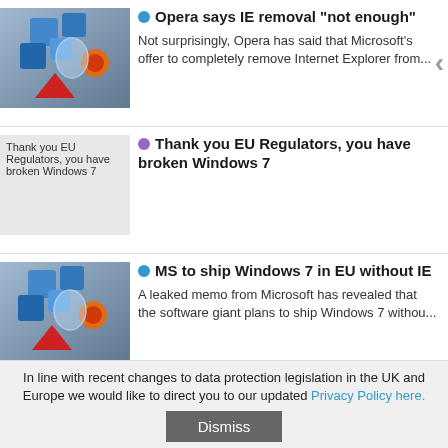Opera says IE removal "not enough" — Not surprisingly, Opera has said that Microsoft's offer to completely remove Internet Explorer from...
Thank you EU Regulators, you have broken Windows 7
MS to ship Windows 7 in EU without IE — A leaked memo from Microsoft has revealed that the software giant plans to ship Windows 7 withou...
EU urges music industry to change online rights — EU antitrust regulators have told the music industry
In line with recent changes to data protection legislation in the UK and Europe we would like to direct you to our updated Privacy Policy here.
Dismiss